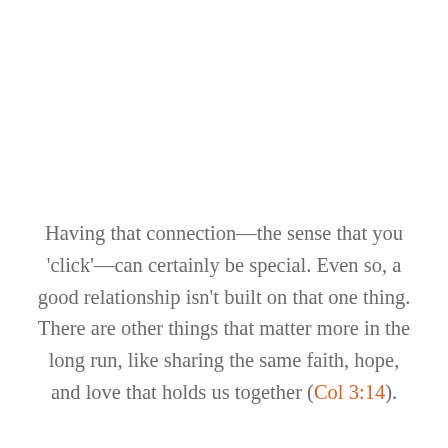Having that connection—the sense that you 'click'—can certainly be special. Even so, a good relationship isn't built on that one thing. There are other things that matter more in the long run, like sharing the same faith, hope, and love that holds us together (Col 3:14).